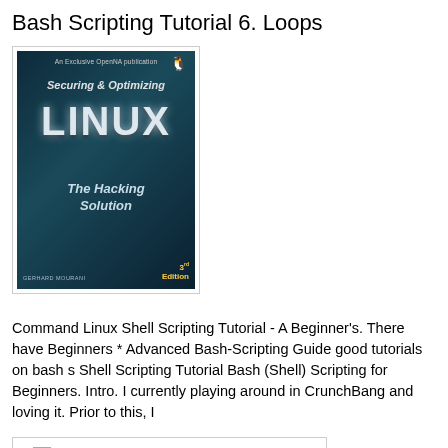Bash Scripting Tutorial 6. Loops
[Figure (illustration): Book cover: 'Securing & Optimizing LINUX: The Hacking Solution' by Gerhard Mourani, 3rd Edition. Dark teal/blue cover with large LINUX text and Tux penguin logo.]
Command Linux Shell Scripting Tutorial - A Beginner's. There have Beginners * Advanced Bash-Scripting Guide good tutorials on bash s Shell Scripting Tutorial Bash (Shell) Scripting for Beginners. Intro. I currently playing around in CrunchBang and loving it. Prior to this, I
[Figure (illustration): Broken image placeholder with alt text: 'bash shell scripting tutorial for beginners']